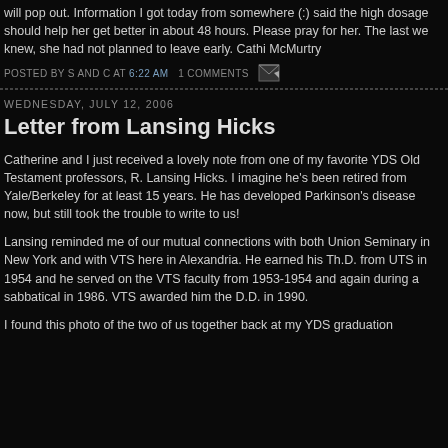will pop out. Information I got today from somewhere (:) said the high dosage should help her get better in about 48 hours. Please pray for her. The last we knew, she had not planned to leave early. Cathi McMurtry
POSTED BY S AND C AT 6:22 AM   1 COMMENTS
WEDNESDAY, JULY 12, 2006
Letter from Lansing Hicks
Catherine and I just received a lovely note from one of my favorite YDS Old Testament professors, R. Lansing Hicks. I imagine he's been retired from Yale/Berkeley for at least 15 years. He has developed Parkinson's disease now, but still took the trouble to write to us!
Lansing reminded me of our mutual connections with both Union Seminary in New York and with VTS here in Alexandria. He earned his Th.D. from UTS in 1954 and he served on the VTS faculty from 1953-1954 and again during a sabbatical in 1986. VTS awarded him the D.D. in 1990.
I found this photo of the two of us together back at my YDS graduation